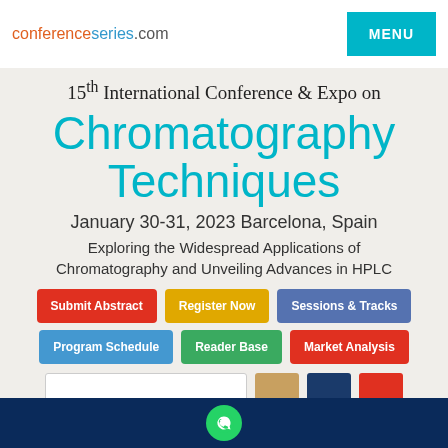conferenceseries.com
15th International Conference & Expo on Chromatography Techniques
January 30-31, 2023 Barcelona, Spain
Exploring the Widespread Applications of Chromatography and Unveiling Advances in HPLC
Submit Abstract
Register Now
Sessions & Tracks
Program Schedule
Reader Base
Market Analysis
WhatsApp